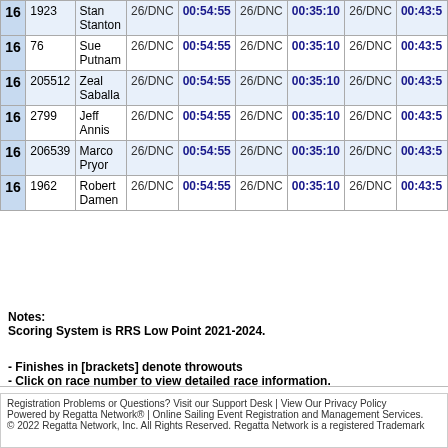| Rank | Sail# | Name | R? | Time | R? | Time | R? | Time |
| --- | --- | --- | --- | --- | --- | --- | --- | --- |
| 16 | 1923 | Stan Stanton | 26/DNC | 00:54:55 | 26/DNC | 00:35:10 | 26/DNC | 00:43:5 |
| 16 | 76 | Sue Putnam | 26/DNC | 00:54:55 | 26/DNC | 00:35:10 | 26/DNC | 00:43:5 |
| 16 | 205512 | Zeal Saballa | 26/DNC | 00:54:55 | 26/DNC | 00:35:10 | 26/DNC | 00:43:5 |
| 16 | 2799 | Jeff Annis | 26/DNC | 00:54:55 | 26/DNC | 00:35:10 | 26/DNC | 00:43:5 |
| 16 | 206539 | Marco Pryor | 26/DNC | 00:54:55 | 26/DNC | 00:35:10 | 26/DNC | 00:43:5 |
| 16 | 1962 | Robert Damen | 26/DNC | 00:54:55 | 26/DNC | 00:35:10 | 26/DNC | 00:43:5 |
Notes:
Scoring System is RRS Low Point 2021-2024.

- Finishes in [brackets] denote throwouts
- Click on race number to view detailed race information.

Information is final.
Registration Problems or Questions? Visit our Support Desk | View Our Privacy Policy
Powered by Regatta Network® | Online Sailing Event Registration and Management Services.
© 2022 Regatta Network, Inc. All Rights Reserved. Regatta Network is a registered Trademark